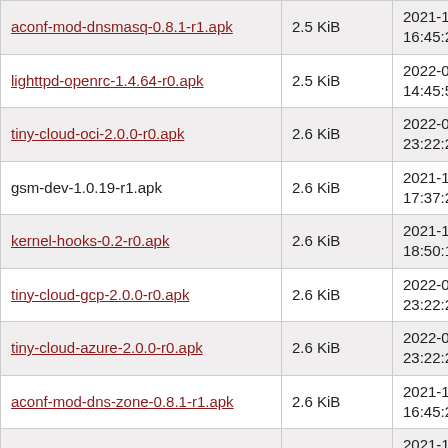| Name | Size | Date |
| --- | --- | --- |
| aconf-mod-dnsmasq-0.8.1-r1.apk | 2.5 KiB | 2021-10-17 16:45:27 |
| lighttpd-openrc-1.4.64-r0.apk | 2.5 KiB | 2022-01-21 14:45:56 |
| tiny-cloud-oci-2.0.0-r0.apk | 2.6 KiB | 2022-01-30 23:22:21 |
| gsm-dev-1.0.19-r1.apk | 2.6 KiB | 2021-10-17 17:37:28 |
| kernel-hooks-0.2-r0.apk | 2.6 KiB | 2021-11-13 18:50:17 |
| tiny-cloud-gcp-2.0.0-r0.apk | 2.6 KiB | 2022-01-30 23:22:21 |
| tiny-cloud-azure-2.0.0-r0.apk | 2.6 KiB | 2022-01-30 23:22:21 |
| aconf-mod-dns-zone-0.8.1-r1.apk | 2.6 KiB | 2021-10-17 16:45:27 |
| cmph-doc-2.0.2-r0.apk | 2.6 KiB | 2021-10-17 16:45:38 |
| libnetfilter_acct-dev-1.0.3-r1.apk | 2.6 KiB | 2021-10-17 16:46:14 |
| quagga-openrc-1.2.4-r5.apk | 2.6 KiB | 2021-10-17 16:47:00 |